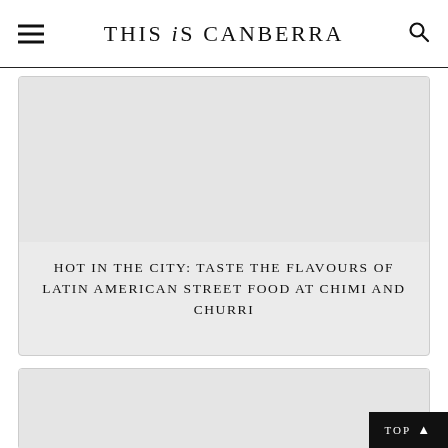THIS iS CANBERRA
[Figure (photo): Article card image area (gray placeholder) for Latin American street food article]
HOT IN THE CITY: TASTE THE FLAVOURS OF LATIN AMERICAN STREET FOOD AT CHIMI AND CHURRI
[Figure (photo): Second article card image area (gray placeholder)]